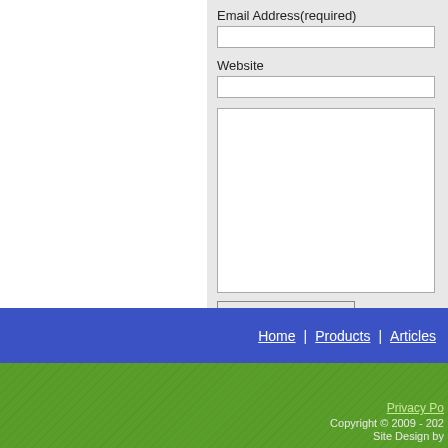Email Address(required)
Website
Submit Comment
Home | Products | Articles
Privacy Po[licy]
Copyright © 2009 - 202[x]
Site Design by [...]